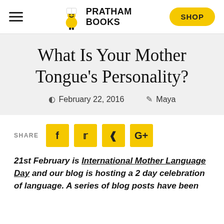PRATHAM BOOKS | SHOP
What Is Your Mother Tongue's Personality?
February 22, 2016   Maya
SHARE
21st February is International Mother Language Day and our blog is hosting a 2 day celebration of language. A series of blog posts have been...